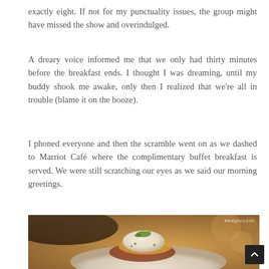exactly eight. If not for my punctuality issues, the group might have missed the show and overindulged.
A dreary voice informed me that we only had thirty minutes before the breakfast ends. I thought I was dreaming, until my buddy shook me awake, only then I realized that we’re all in trouble (blame it on the booze).
I phoned everyone and then the scramble went on as we dashed to Marriot Café where the complimentary buffet breakfast is served. We were still scratching our eyes as we said our morning greetings.
[Figure (photo): Close-up food photo of eggs Benedict or a similar breakfast dish with hollandaise sauce, bacon, and green herb garnish on a white plate, with a warm bokeh background. Watermark reads 'thediginro.com'.]